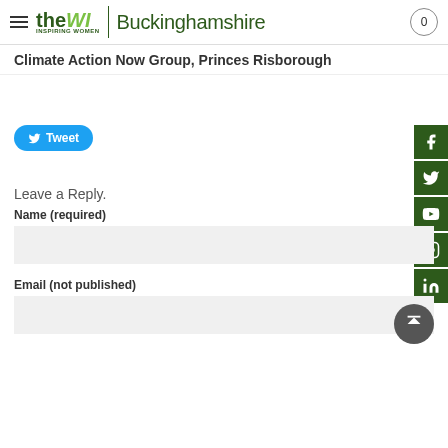the WI | Buckinghamshire
Climate Action Now Group, Princes Risborough
Tweet
Leave a Reply.
Name (required)
Email (not published)